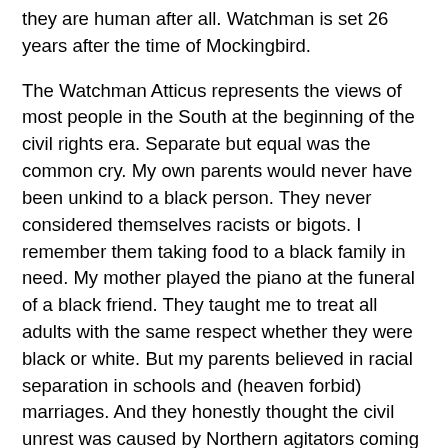they are human after all.  Watchman is set 26 years after the time of Mockingbird.
The Watchman Atticus represents the views of most people in the South at the beginning of the civil rights era.  Separate but equal was the common cry.  My own parents would never have been unkind to a black person.  They never considered themselves racists or bigots.  I remember them taking food to a black family in need.  My mother played the piano at the funeral of a black friend.  They taught me to treat all adults with the same respect whether they were black or white.  But my parents believed in racial separation in schools and (heaven forbid) marriages.  And they honestly thought the civil unrest was caused by Northern agitators coming down South to stir up things.
The Atticus in Watchman believes that the civil rights movement is dangerous on several counts.  He believes that the Southern blacks are not sufficiently sociologically advanced to govern themselves.  That they are "backward" and simply unable to participate and accept the civic responsibilities the Civil Rights movement would impose.